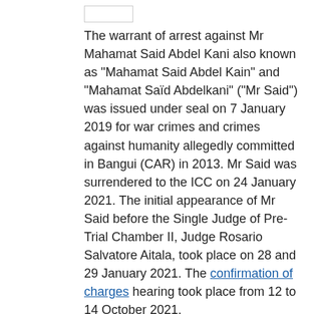The warrant of arrest against Mr Mahamat Said Abdel Kani also known as "Mahamat Said Abdel Kain" and "Mahamat Saïd Abdelkani" ("Mr Said") was issued under seal on 7 January 2019 for war crimes and crimes against humanity allegedly committed in Bangui (CAR) in 2013. Mr Said was surrendered to the ICC on 24 January 2021. The initial appearance of Mr Said before the Single Judge of Pre-Trial Chamber II, Judge Rosario Salvatore Aitala, took place on 28 and 29 January 2021. The confirmation of charges hearing took place from 12 to 14 October 2021.
On 9 December 2021, Pre-Trial Chamber II partially confirmed the charges of crimes against humanity and war crimes brought by the Prosecutor against Mr Said and committed him to trial. The decision confirming the charges can